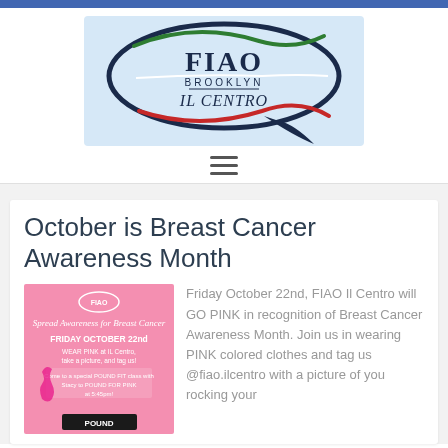[Figure (logo): FIAO Brooklyn IL Centro logo — speech bubble shape with Italian flag colors (red, white, green) and dark blue text]
October is Breast Cancer Awareness Month
[Figure (photo): Pink promotional flyer for FIAO IL Centro Breast Cancer Awareness event on Friday October 22nd, featuring POUND FIT class with Stacy, pink ribbon graphic, and POUND logo]
Friday October 22nd, FIAO Il Centro will GO PINK in recognition of Breast Cancer Awareness Month. Join us in wearing PINK colored clothes and tag us @fiao.ilcentro with a picture of you rocking your